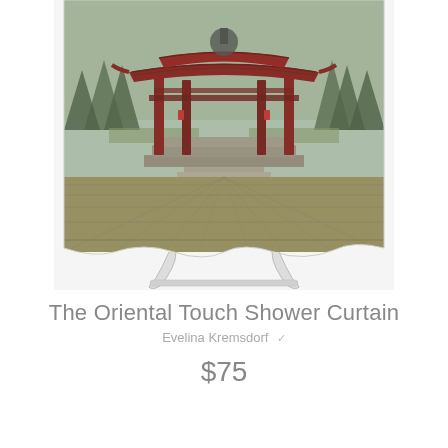[Figure (photo): A photo of an oriental/Asian-style pavilion with a red tiled roof and columns, surrounded by evergreen trees, with a large stone-paved courtyard in the foreground. The image is displayed on a shower curtain product mockup propped on a white stand/easel.]
The Oriental Touch Shower Curtain
Evelina Kremsdorf
$75